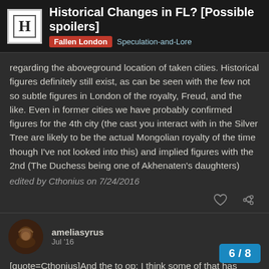Historical Changes in FL? [Possible spoilers] | Fallen London | Speculation-and-Lore
regarding the aboveground location of taken cities. Historical figures definitely still exist, as can be seen with the few not so subtle figures in London of the royalty, Freud, and the like. Even in former cities we have probably confirmed figures for the 4th city (the cast you interact with in the Silver Tree are likely to be the actual Mongolian royalty of the time though I've not looked into this) and implied figures with the 2nd (The Duchess being one of Akhenaten's daughters)
edited by Cthonius on 7/24/2016
ameliasyrus
Jul '16
[quote=Cthonius]And the to op: I think some of that has been commented before but damn if I can reme... dev comments regarding the aboveground